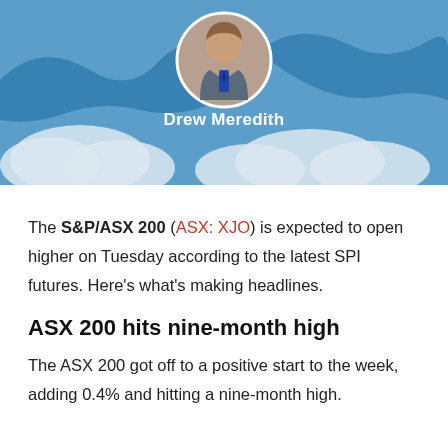[Figure (illustration): Header banner with blue sky and clouds background, circular portrait photo of Drew Meredith (man in suit and tie), with author name below]
The S&P/ASX 200 (ASX: XJO) is expected to open higher on Tuesday according to the latest SPI futures. Here's what's making headlines.
ASX 200 hits nine-month high
The ASX 200 got off to a positive start to the week, adding 0.4% and hitting a nine-month high.